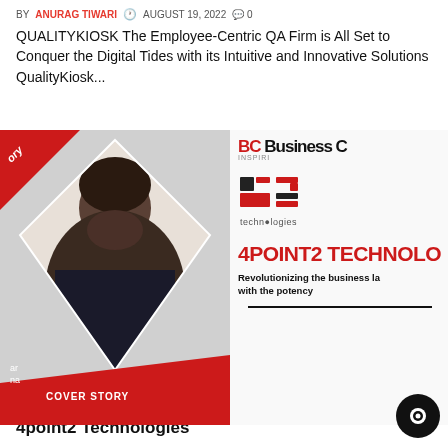BY ANURAG TIWARI  AUGUST 19, 2022  0
QUALITYKIOSK The Employee-Centric QA Firm is All Set to Conquer the Digital Tides with its Intuitive and Innovative Solutions QualityKiosk...
[Figure (photo): Magazine cover showing a man in a diamond-shaped frame with red triangles and 'COVER STORY' label, alongside Business C logo, 4point2 technologies logo, large red text '4POINT2 TECHNOLO', and subtitle 'Revolutionizing the business la with the potency']
4point2 Technologies